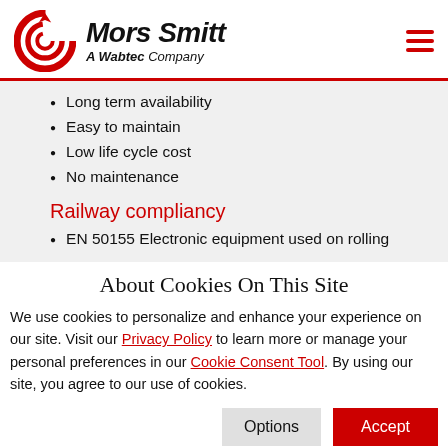[Figure (logo): Mors Smitt – A Wabtec Company logo with red circular emblem]
Long term availability
Easy to maintain
Low life cycle cost
No maintenance
Railway compliancy
EN 50155 Electronic equipment used on rolling
About Cookies On This Site
We use cookies to personalize and enhance your experience on our site. Visit our Privacy Policy to learn more or manage your personal preferences in our Cookie Consent Tool. By using our site, you agree to our use of cookies.